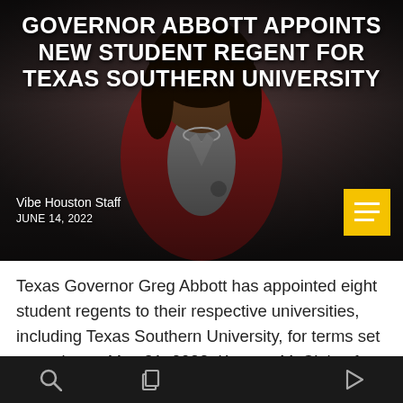[Figure (photo): Header image showing a woman in a red blazer with white necklace against a dark background. Overlaid with article title text, byline, date, and a yellow menu button.]
GOVERNOR ABBOTT APPOINTS NEW STUDENT REGENT FOR TEXAS SOUTHERN UNIVERSITY
Vibe Houston Staff
JUNE 14, 2022
Texas Governor Greg Abbott has appointed eight student regents to their respective universities, including Texas Southern University, for terms set to expire on May 31, 2023. Keonne McClain of Houston, who is pursuing a doctorate in Educational Administration at TSU, was appointed by Gov. Abbott. McClain has been an elementary school teacher with Pasadena ISD for [...]